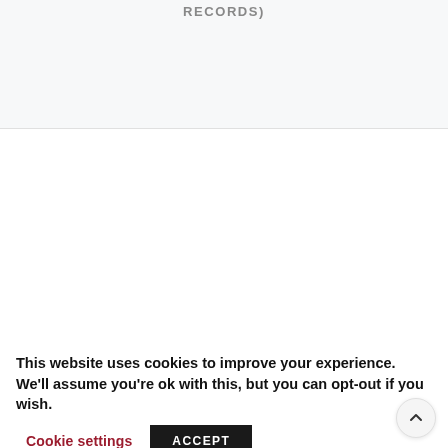RECORDS)
This website uses cookies to improve your experience. We'll assume you're ok with this, but you can opt-out if you wish.
Cookie settings  ACCEPT